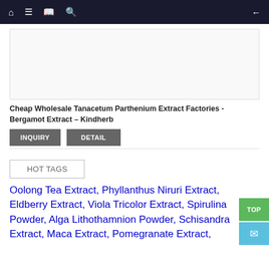Navigation bar with home, menu, book, search icons and back arrow
[Figure (photo): Product image placeholder box for Tanacetum Parthenium Extract]
Cheap Wholesale Tanacetum Parthenium Extract Factories - Bergamot Extract – Kindherb
INQUIRY  DETAIL
HOT TAGS
Oolong Tea Extract, Phyllanthus Niruri Extract, Eldberry Extract, Viola Tricolor Extract, Spirulina Powder, Alga Lithothamnion Powder, Schisandra Extract, Maca Extract, Pomegranate Extract,